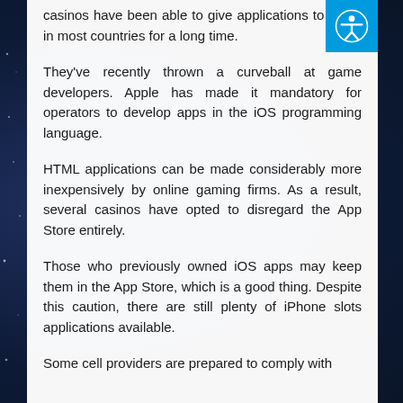casinos have been able to give applications to users in most countries for a long time.
They've recently thrown a curveball at game developers. Apple has made it mandatory for operators to develop apps in the iOS programming language.
HTML applications can be made considerably more inexpensively by online gaming firms. As a result, several casinos have opted to disregard the App Store entirely.
Those who previously owned iOS apps may keep them in the App Store, which is a good thing. Despite this caution, there are still plenty of iPhone slots applications available.
Some cell providers are prepared to comply with